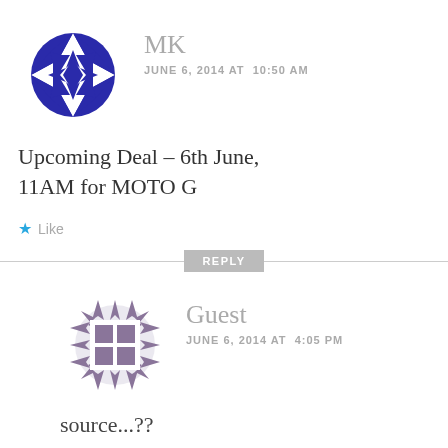[Figure (logo): Blue/indigo geometric avatar icon for user MK]
MK
JUNE 6, 2014 AT  10:50 AM
Upcoming Deal – 6th June, 11AM for MOTO G
★ Like
REPLY
[Figure (logo): Purple spiky/building geometric avatar icon for user Guest]
Guest
JUNE 6, 2014 AT  4:05 PM
source...??
★ Like